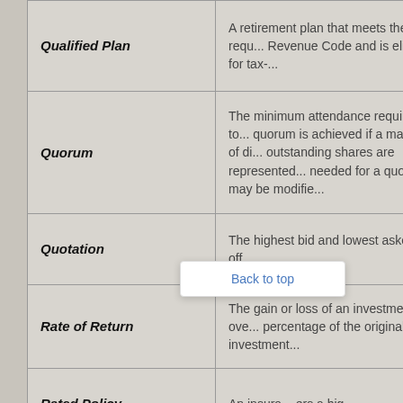| Term | Definition |
| --- | --- |
| Qualified Plan | A retirement plan that meets the requ... Revenue Code and is eligible for tax-... |
| Quorum | The minimum attendance required to... quorum is achieved if a majority of di... outstanding shares are represented... needed for a quorum may be modifie... |
| Quotation | The highest bid and lowest asked off... |
| Rate of Return | The gain or loss of an investment ove... percentage of the original investment... |
| Rated Policy | An insura... ers a hig... |
| Ratio | Relative size, expressed as the numb... For example, the ratio of assets to lia... $200,000 and liabilities of $150,000 v... |
|  |  |